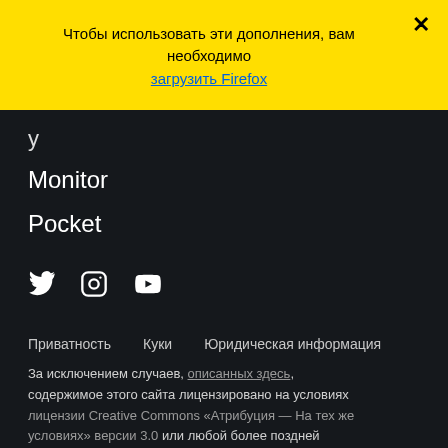Чтобы использовать эти дополнения, вам необходимо загрузить Firefox
Monitor
Pocket
[Figure (infographic): Social media icons: Twitter, Instagram, YouTube]
Приватность   Куки   Юридическая информация
За исключением случаев, описанных здесь, содержимое этого сайта лицензировано на условиях лицензии Creative Commons «Атрибуция — На тех же условиях» версии 3.0 или любой более поздней версии.